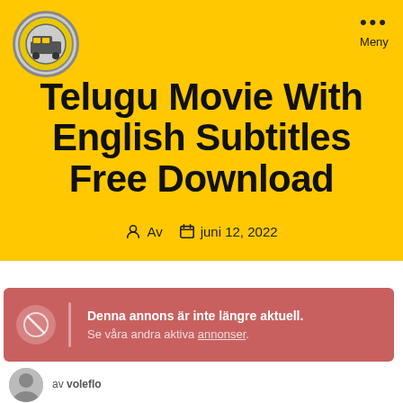[Figure (logo): Circular logo with yellow/grey design]
Telugu Movie With English Subtitles Free Download
Av   juni 12, 2022
Denna annons är inte längre aktuell. Se våra andra aktiva annonser.
av voleflo